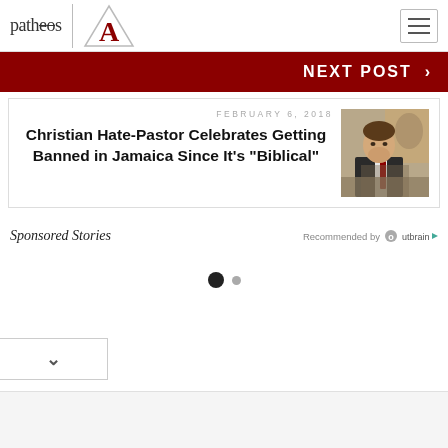patheos [logo] / [A logo]
NEXT POST >
FEBRUARY 6, 2018
Christian Hate-Pastor Celebrates Getting Banned in Jamaica Since It's "Biblical"
[Figure (photo): Man in dark suit and red tie speaking at podium]
Sponsored Stories
Recommended by Outbrain